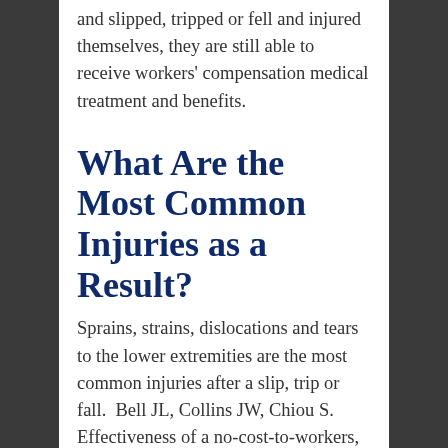even if the worker was clumsy and slipped, tripped or fell and injured themselves, they are still able to receive workers' compensation medical treatment and benefits.
What Are the Most Common Injuries as a Result?
Sprains, strains, dislocations and tears to the lower extremities are the most common injuries after a slip, trip or fall.  Bell JL, Collins JW, Chiou S. Effectiveness of a no-cost-to-workers, slip-resistant footwear program for reducing